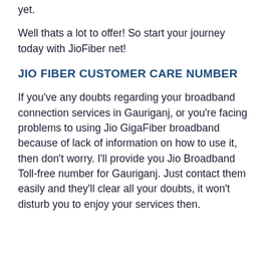yet.
Well thats a lot to offer! So start your journey today with JioFiber net!
JIO FIBER CUSTOMER CARE NUMBER
If you've any doubts regarding your broadband connection services in Gauriganj, or you're facing problems to using Jio GigaFiber broadband because of lack of information on how to use it, then don't worry. I'll provide you Jio Broadband Toll-free number for Gauriganj. Just contact them easily and they'll clear all your doubts, it won't disturb you to enjoy your services then.